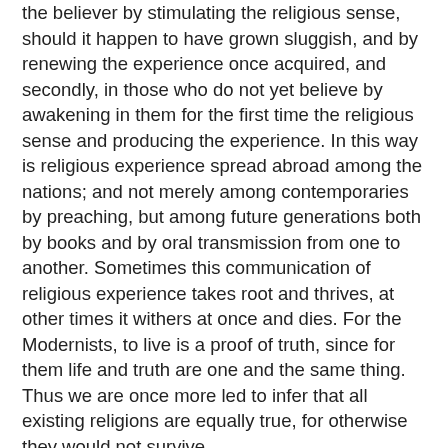the believer by stimulating the religious sense, should it happen to have grown sluggish, and by renewing the experience once acquired, and secondly, in those who do not yet believe by awakening in them for the first time the religious sense and producing the experience. In this way is religious experience spread abroad among the nations; and not merely among contemporaries by preaching, but among future generations both by books and by oral transmission from one to another. Sometimes this communication of religious experience takes root and thrives, at other times it withers at once and dies. For the Modernists, to live is a proof of truth, since for them life and truth are one and the same thing. Thus we are once more led to infer that all existing religions are equally true, for otherwise they would not survive.
16. We have proceeded sufficiently far, Venerable Brethren, to have before us enough, and more than enough, to enable us to see what are the relations which Modernists establish between faith and science -- including, as they are wont to do under that name, history. And in the first place it is to be held that the object-matter of the one is quite extraneous to and separate from the object-matter of the other. For faith occupies itself solely with something which science declares